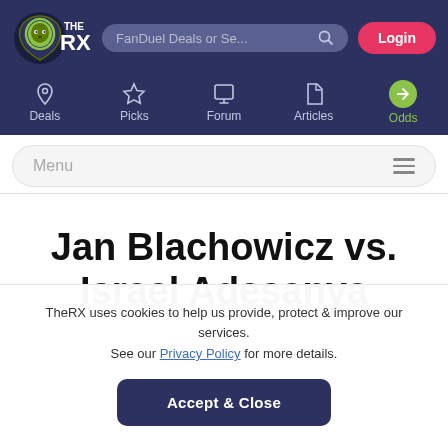THE RX — FanDuel Deals or Se... Login — Deals, Picks, Forum, Articles, Odds
[Figure (logo): TheRX lion logo with THE RX text in white on dark blue background]
Menu
Jan Blachowicz vs. Israel Adesanya
TheRX uses cookies to help us provide, protect & improve our services. See our Privacy Policy for more details.
Accept & Close